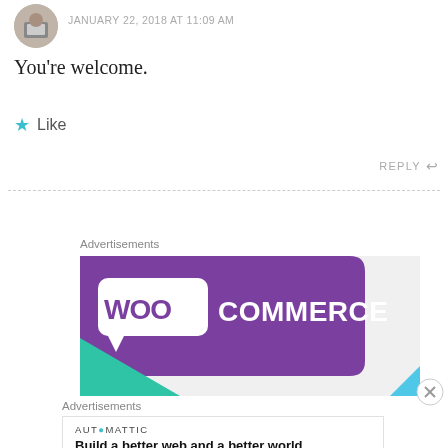[Figure (photo): Circular avatar photo of a person at a desk with a laptop]
JANUARY 22, 2018 AT 11:09 AM
You're welcome.
★ Like
REPLY ↩
[Figure (other): WooCommerce advertisement banner with purple background and logo]
Advertisements
[Figure (other): Automattic advertisement: Build a better web and a better world.]
Advertisements